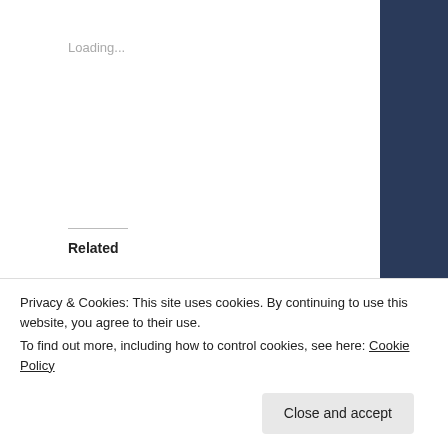Loading...
Related
Book Review: Manga Classics: Emma
August 27, 2017
In "young adult"
Book Review: Manga Classics: Sense and Sensibility
September 28, 2017
In "Genre"
Book Review: Manga
Privacy & Cookies: This site uses cookies. By continuing to use this website, you agree to their use.
To find out more, including how to control cookies, see here: Cookie Policy
Close and accept